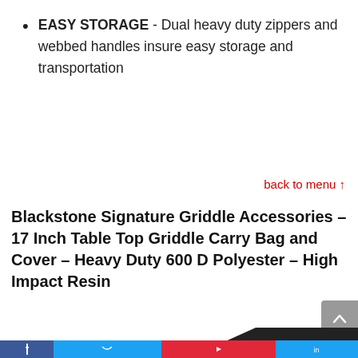EASY STORAGE - Dual heavy duty zippers and webbed handles insure easy storage and transportation
back to menu ↑
Blackstone Signature Griddle Accessories – 17 Inch Table Top Griddle Carry Bag and Cover – Heavy Duty 600 D Polyester – High Impact Resin
[Figure (photo): Product image of a black griddle carry bag/cover partially visible at the bottom of the page, with a green -39% discount badge overlay]